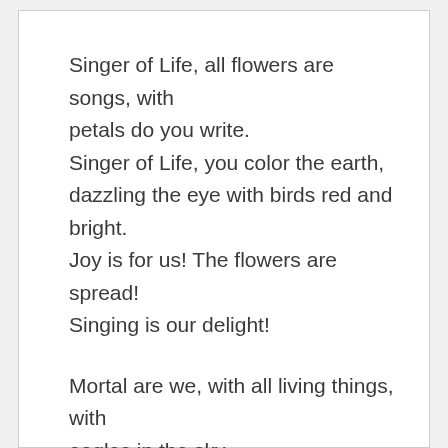Singer of Life, all flowers are songs, with petals do you write.
Singer of Life, you color the earth, dazzling the eye with birds red and bright.
Joy is for us! The flowers are spread!
Singing is our delight!
Mortal are we, with all living things, with eagles in the sky.
Even all gold and jade will not last; singing alone, I know, cannot die.
Here in this house of springtime bestow